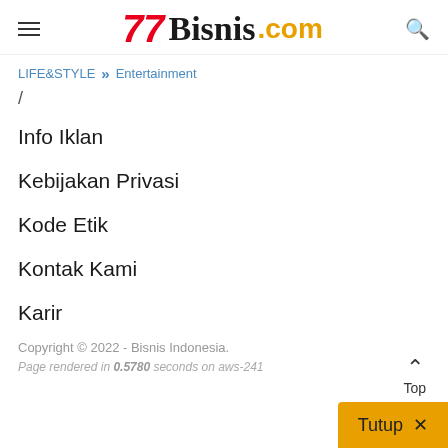Bisnis.com
LIFE&STYLE >> Entertainment
Info Iklan
Kebijakan Privasi
Kode Etik
Kontak Kami
Karir
Copyright © 2022 - Bisnis Indonesia.
Page rendered in 0.5780 seconds on aws-241